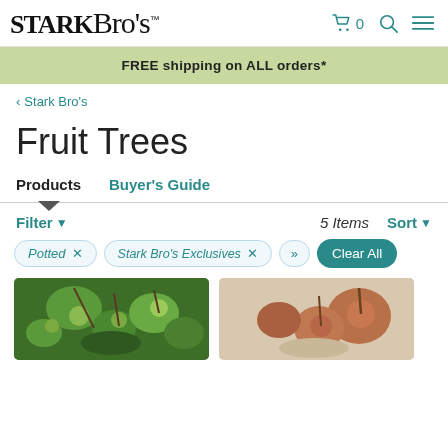Stark Bro's — Cart 0 | Search | Menu
FREE shipping on ALL orders*
< Stark Bro's
Fruit Trees
Products   Buyer's Guide
Filter ▾   5 Items   Sort ▾
Potted ×   Stark Bro's Exclusives ×   »   Clear All
[Figure (photo): Two partial product listing photos: left shows green fruit on a tree branch, right shows reddish-brown fruit on a branch.]